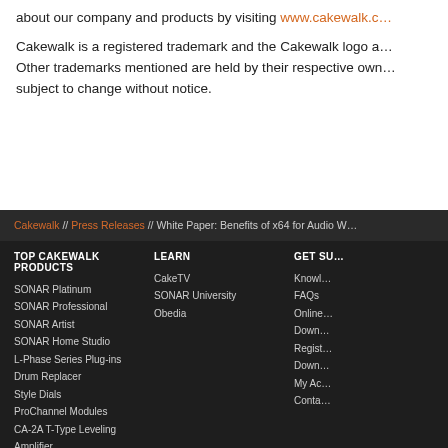about our company and products by visiting www.cakewalk.c…
Cakewalk is a registered trademark and the Cakewalk logo a… Other trademarks mentioned are held by their respective own… subject to change without notice.
Cakewalk // Press Releases // White Paper: Benefits of x64 for Audio W…
TOP CAKEWALK PRODUCTS
SONAR Platinum
SONAR Professional
SONAR Artist
SONAR Home Studio
L-Phase Series Plug-ins
Drum Replacer
Style Dials
ProChannel Modules
CA-2A T-Type Leveling Amplifier
Studio Instruments
Z3TA+ 2
Rapture Pro
LEARN
CakeTV
SONAR University
Obedia
GET SU…
Knowl…
FAQs
Online…
Down…
Regist…
Down…
My Ac…
Conta…
Copyright © 2022 Cakewalk, Inc. All rights reserved
Sitemap | Privacy Policy | Legal